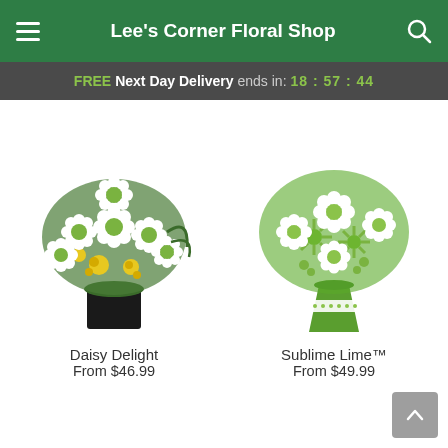Lee's Corner Floral Shop
FREE Next Day Delivery ends in: 18:57:44
[Figure (photo): Daisy Delight flower arrangement: white daisies with yellow accents in a black square vase]
Daisy Delight
From $46.99
[Figure (photo): Sublime Lime flower arrangement: white daisies with green spider mums in a green vase with polka-dot ribbon]
Sublime Lime™
From $49.99